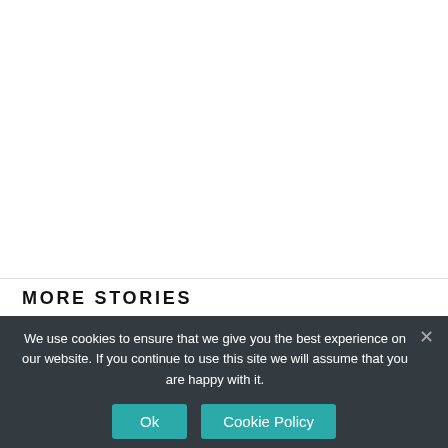MORE STORIES
We use cookies to ensure that we give you the best experience on our website. If you continue to use this site we will assume that you are happy with it.
Ok  Cookie Policy